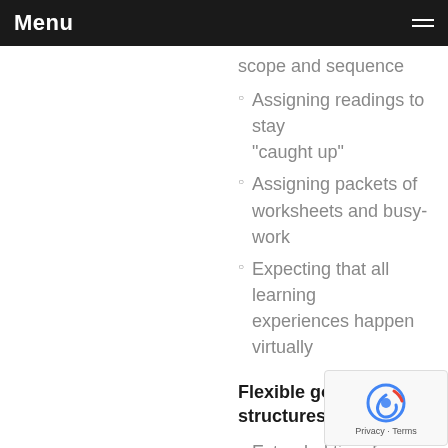Menu
scope and sequence
Assigning readings to stay "caught up"
Assigning packets of worksheets and busy-work
Expecting that all learning experiences happen virtually
Flexible goals and structures for learning
Extended time for learning and reflection
Use of commonly a... materials
Purposeful selection of